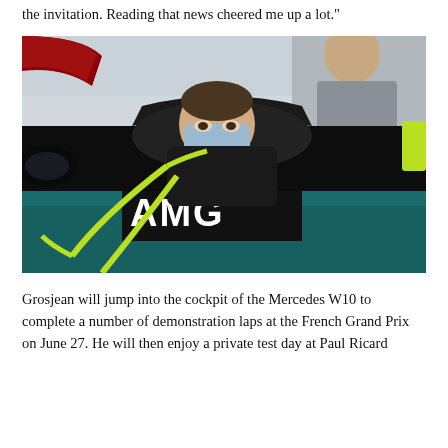the invitation. Reading that news cheered me up a lot."
[Figure (photo): Romain Grosjean wearing a face mask, sitting in the cockpit of a Mercedes AMG F1 car (showing CROWDSTRIKE sponsor on the halo), with a yellow-green harness visible. A mechanic/engineer in a grey sweatshirt stands behind. The car is black with teal/turquoise accents.]
Grosjean will jump into the cockpit of the Mercedes W10 to complete a number of demonstration laps at the French Grand Prix on June 27. He will then enjoy a private test day at Paul Ricard